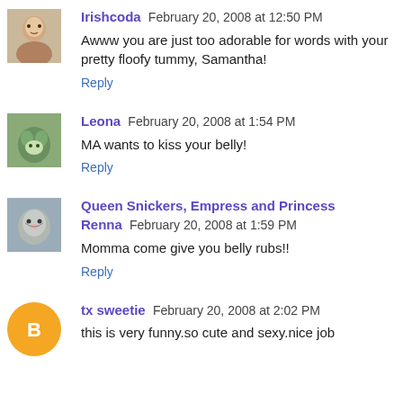Irishcoda February 20, 2008 at 12:50 PM
Awww you are just too adorable for words with your pretty floofy tummy, Samantha!
Reply
Leona February 20, 2008 at 1:54 PM
MA wants to kiss your belly!
Reply
Queen Snickers, Empress and Princess Renna February 20, 2008 at 1:59 PM
Momma come give you belly rubs!!
Reply
tx sweetie February 20, 2008 at 2:02 PM
this is very funny.so cute and sexy.nice job